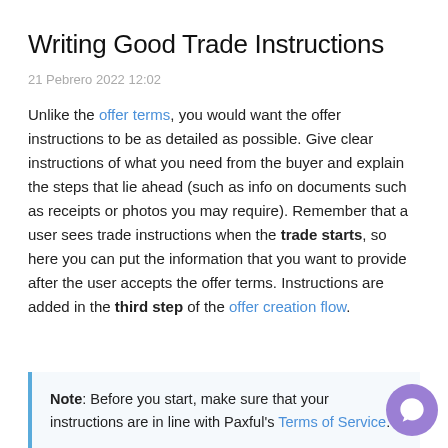Writing Good Trade Instructions
21 Pebrero 2022 12:02
Unlike the offer terms, you would want the offer instructions to be as detailed as possible. Give clear instructions of what you need from the buyer and explain the steps that lie ahead (such as info on documents such as receipts or photos you may require). Remember that a user sees trade instructions when the trade starts, so here you can put the information that you want to provide after the user accepts the offer terms. Instructions are added in the third step of the offer creation flow.
Note: Before you start, make sure that your instructions are in line with Paxful's Terms of Service.